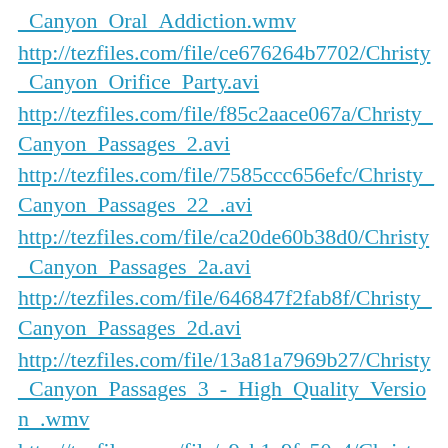_Canyon_Oral_Addiction.wmv
http://tezfiles.com/file/ce676264b7702/Christy_Canyon_Orifice_Party.avi
http://tezfiles.com/file/f85c2aace067a/Christy_Canyon_Passages_2.avi
http://tezfiles.com/file/7585ccc656efc/Christy_Canyon_Passages_22_.avi
http://tezfiles.com/file/ca20de60b38d0/Christy_Canyon_Passages_2a.avi
http://tezfiles.com/file/646847f2fab8f/Christy_Canyon_Passages_2d.avi
http://tezfiles.com/file/13a81a7969b27/Christy_Canyon_Passages_3_-_High_Quality_Version_.wmv
http://tezfiles.com/file/e9cb1a9fc50c4/Christy_Canyon_Passages_3_1991_sc1.avi